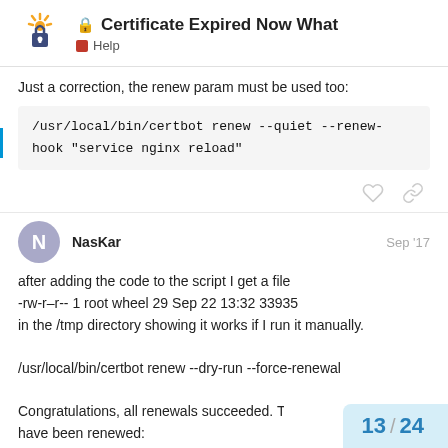Certificate Expired Now What — Help
Just a correction, the renew param must be used too:
after adding the code to the script I get a file
-rw-r–r-- 1 root wheel 29 Sep 22 13:32 33935
in the /tmp directory showing it works if I run it manually.

/usr/local/bin/certbot renew --dry-run --force-renewal

Congratulations, all renewals succeeded. T... have been renewed:
13 / 24